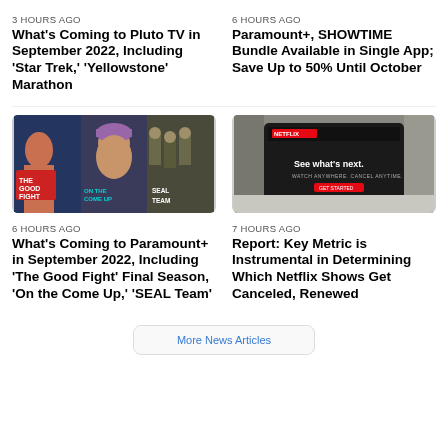3 HOURS AGO
What's Coming to Pluto TV in September 2022, Including 'Star Trek,' 'Yellowstone' Marathon
6 HOURS AGO
Paramount+, SHOWTIME Bundle Available in Single App; Save Up to 50% Until October
[Figure (photo): Collage of Paramount+ show images: The Good Fight, On the Come Up, SEAL Team]
6 HOURS AGO
What's Coming to Paramount+ in September 2022, Including 'The Good Fight' Final Season, 'On the Come Up,' 'SEAL Team'
[Figure (photo): Netflix tablet showing 'See what's next. Watch anywhere. Cancel anytime.' screen]
7 HOURS AGO
Report: Key Metric is Instrumental in Determining Which Netflix Shows Get Canceled, Renewed
More News Articles